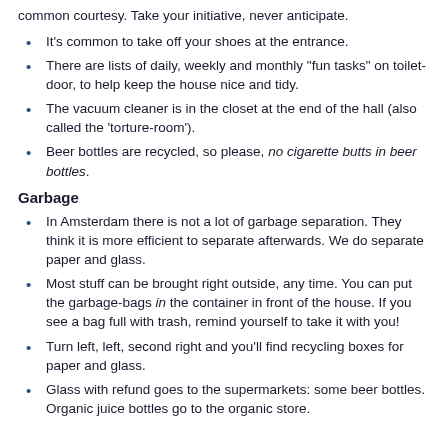common courtesy. Take your initiative, never anticipate.
It's common to take off your shoes at the entrance.
There are lists of daily, weekly and monthly "fun tasks" on toilet-door, to help keep the house nice and tidy.
The vacuum cleaner is in the closet at the end of the hall (also called the 'torture-room').
Beer bottles are recycled, so please, no cigarette butts in beer bottles.
Garbage
In Amsterdam there is not a lot of garbage separation. They think it is more efficient to separate afterwards. We do separate paper and glass.
Most stuff can be brought right outside, any time. You can put the garbage-bags in the container in front of the house. If you see a bag full with trash, remind yourself to take it with you!
Turn left, left, second right and you'll find recycling boxes for paper and glass.
Glass with refund goes to the supermarkets: some beer bottles. Organic juice bottles go to the organic store.